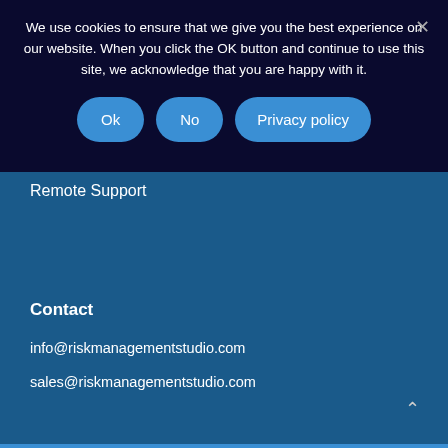We use cookies to ensure that we give you the best experience on our website. When you click the OK button and continue to use this site, we acknowledge that you are happy with it.
Ok
No
Privacy policy
Remote Support
Contact
info@riskmanagementstudio.com
sales@riskmanagementstudio.com